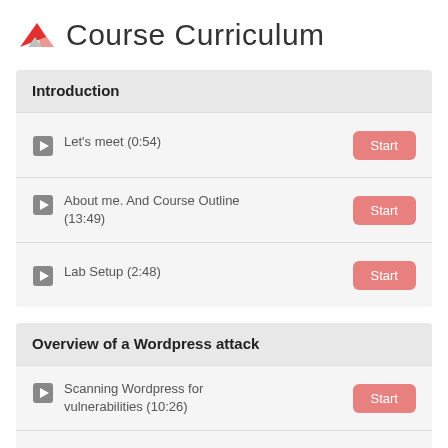Course Curriculum
Introduction
Let's meet (0:54)
About me. And Course Outline (13:49)
Lab Setup (2:48)
Overview of a Wordpress attack
Scanning Wordpress for vulnerabilities (10:26)
Exploit Vulnerable Wordpress Plugin (9:18)